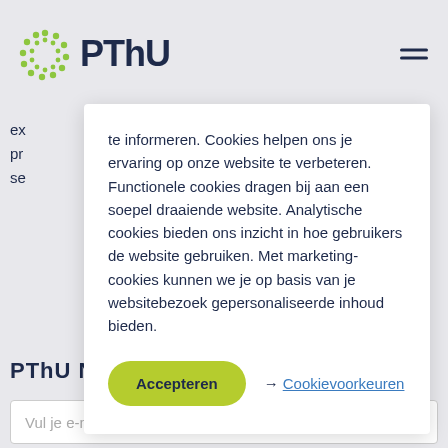PThU
te informeren. Cookies helpen ons je ervaring op onze website te verbeteren. Functionele cookies dragen bij aan een soepel draaiende website. Analytische cookies bieden ons inzicht in hoe gebruikers de website gebruiken. Met marketing-cookies kunnen we je op basis van je websitebezoek gepersonaliseerde inhoud bieden.
Accepteren
→ Cookievoorkeuren
PThU Nieuws
Vul je e-mailadres in